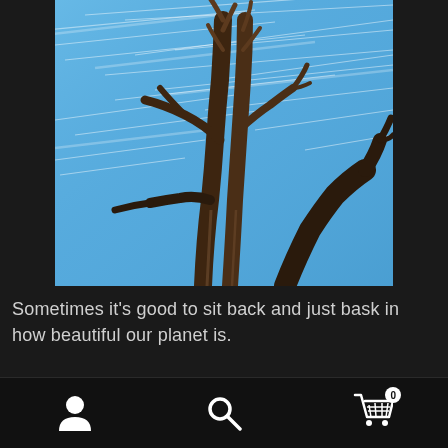[Figure (photo): Bare dead tree with multiple branches reaching upward against a blue sky with long-exposure white streak clouds, photographed from below]
Sometimes it's good to sit back and just bask in how beautiful our planet is.
[Figure (photo): Partial view of a green leafy tree and a building roof against a blue streaky sky — cropped bottom image]
Navigation bar with profile icon, search icon, and shopping cart icon with badge 0